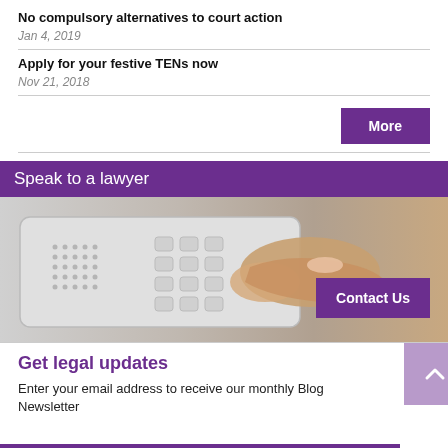No compulsory alternatives to court action
Jan 4, 2019
Apply for your festive TENs now
Nov 21, 2018
More
Speak to a lawyer
[Figure (photo): Close-up of a person's finger pressing buttons on a telephone keypad]
Contact Us
Get legal updates
Enter your email address to receive our monthly Blog Newsletter